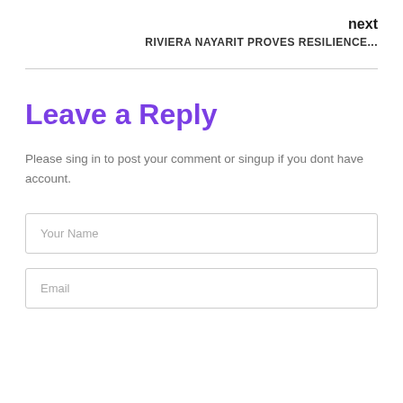next
RIVIERA NAYARIT PROVES RESILIENCE...
Leave a Reply
Please sing in to post your comment or singup if you dont have account.
Your Name
Email